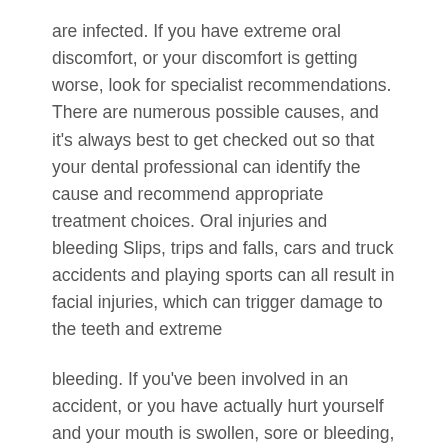are infected. If you have extreme oral discomfort, or your discomfort is getting worse, look for specialist recommendations. There are numerous possible causes, and it's always best to get checked out so that your dental professional can identify the cause and recommend appropriate treatment choices. Oral injuries and bleeding Slips, trips and falls, cars and truck accidents and playing sports can all result in facial injuries, which can trigger damage to the teeth and extreme
bleeding. If you've been involved in an accident, or you have actually hurt yourself and your mouth is swollen, sore or bleeding, arrange to see your dental professional. The priority will be to stem the bleeding. Your dentist will then choose whether additional treatment, for example, corrective work, is required. What to do in an emergency situation If you require emergency situation help for oral problems, don't